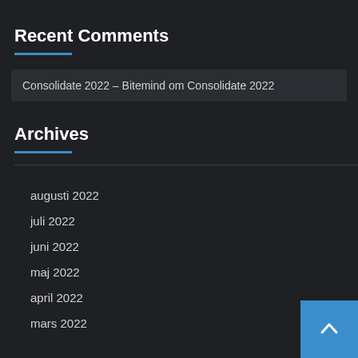Recent Comments
Consolidate 2022 – Bitemind om Consolidate 2022
Archives
augusti 2022
juli 2022
juni 2022
maj 2022
april 2022
mars 2022